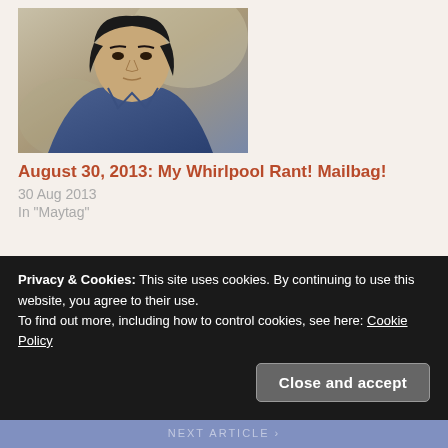[Figure (photo): Portrait photo of an Asian man looking to the side, wearing a blue jacket, with blurred background]
August 30, 2013: My Whirlpool Rant! Mailbag!
30 Aug 2013
In "Maytag"
Posted in Uncategorized · Tagged eco friendly, environmentalism, green movement
Privacy & Cookies: This site uses cookies. By continuing to use this website, you agree to their use.
To find out more, including how to control cookies, see here: Cookie Policy
Close and accept
NEXT ARTICLE >